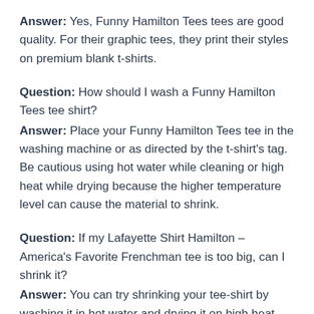Answer: Yes, Funny Hamilton Tees tees are good quality. For their graphic tees, they print their styles on premium blank t-shirts.
Question: How should I wash a Funny Hamilton Tees tee shirt?
Answer: Place your Funny Hamilton Tees tee in the washing machine or as directed by the t-shirt's tag. Be cautious using hot water while cleaning or high heat while drying because the higher temperature level can cause the material to shrink.
Question: If my Lafayette Shirt Hamilton – America's Favorite Frenchman tee is too big, can I shrink it?
Answer: You can try shrinking your tee-shirt by washing it in hot water and drying it on high heat. This helps the shirt